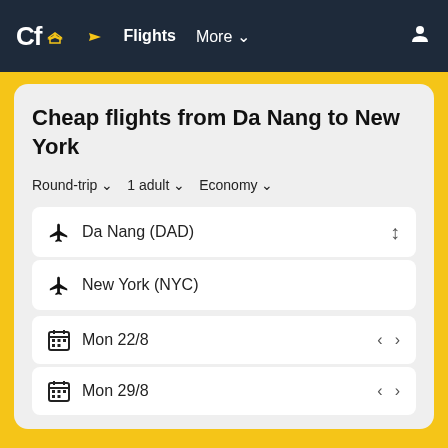Cf Flights More
Cheap flights from Da Nang to New York
Round-trip  1 adult  Economy
Da Nang (DAD)
New York (NYC)
Mon 22/8
Mon 29/8